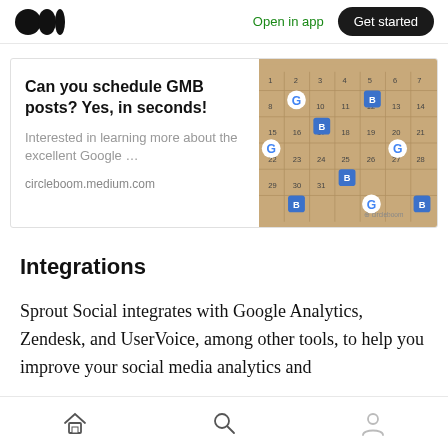Open in app | Get started
[Figure (screenshot): Advertisement for circleboom.medium.com showing a Google/Calendar scheduling interface. Title: Can you schedule GMB posts? Yes, in seconds! Subtext: Interested in learning more about the excellent Google ... URL: circleboom.medium.com]
Integrations
Sprout Social integrates with Google Analytics, Zendesk, and UserVoice, among other tools, to help you improve your social media analytics and
Home | Search | Profile